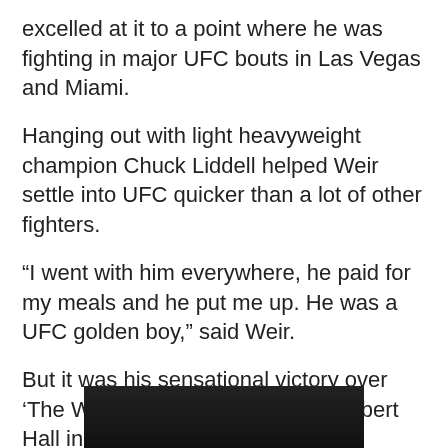excelled at it to a point where he was fighting in major UFC bouts in Las Vegas and Miami.
Hanging out with light heavyweight champion Chuck Liddell helped Weir settle into UFC quicker than a lot of other fighters.
“I went with him everywhere, he paid for my meals and he put me up. He was a UFC golden boy,” said Weir.
But it was his sensational victory over ‘The Wolf’ Jackson at The Royal Albert Hall in London which helped Weir become an MMA superstar.
[Figure (photo): Dark/black photo strip at the bottom of the page, partially showing what appears to be a person]